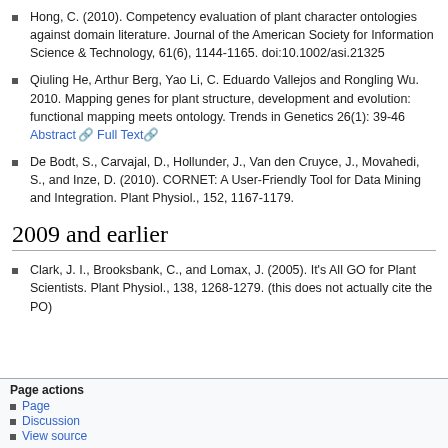Hong, C. (2010). Competency evaluation of plant character ontologies against domain literature. Journal of the American Society for Information Science & Technology, 61(6), 1144-1165. doi:10.1002/asi.21325
Qiuling He, Arthur Berg, Yao Li, C. Eduardo Vallejos and Rongling Wu. 2010. Mapping genes for plant structure, development and evolution: functional mapping meets ontology. Trends in Genetics 26(1): 39-46 Abstract [link] Full Text [link]
De Bodt, S., Carvajal, D., Hollunder, J., Van den Cruyce, J., Movahedi, S., and Inze, D. (2010). CORNET: A User-Friendly Tool for Data Mining and Integration. Plant Physiol., 152, 1167-1179.
2009 and earlier
Clark, J. I., Brooksbank, C., and Lomax, J. (2005). It's All GO for Plant Scientists. Plant Physiol., 138, 1268-1279. (this does not actually cite the PO)
Page actions
• Page
• Discussion
• View source